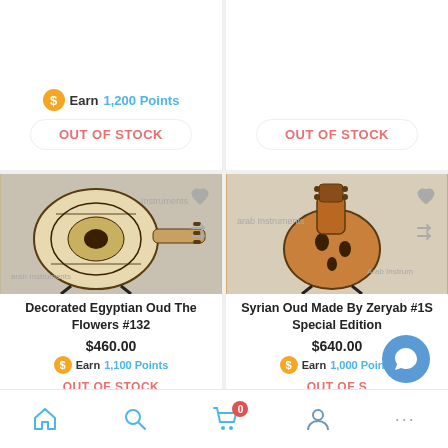[Figure (screenshot): Top partial product card left: Earn 1,200 Points and OUT OF STOCK button]
[Figure (screenshot): Top partial product card right: OUT OF STOCK button]
[Figure (photo): Decorated Egyptian Oud The Flowers #132 product image]
Decorated Egyptian Oud The Flowers #132
$460.00
Earn 1,100 Points
OUT OF STOCK
[Figure (photo): Syrian Oud Made By Zeryab #1S Special Edition product image]
Syrian Oud Made By Zeryab #1S Special Edition
$640.00
Earn 1,000 Points
OUT OF S[tock]
Home | Search | Cart (0) | Account | ...